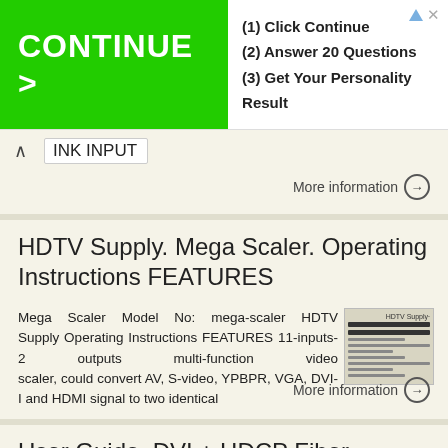[Figure (screenshot): Advertisement banner with green CONTINUE > button and steps: (1) Click Continue, (2) Answer 20 Questions, (3) Get Your Personality Result]
INK INPUT
More information →
HDTV Supply. Mega Scaler. Operating Instructions FEATURES
Mega Scaler Model No: mega-scaler HDTV Supply Operating Instructions FEATURES 11-inputs-2 outputs multi-function video scaler, could convert AV, S-video, YPBPR, VGA, DVI-I and HDMI signal to two identical
More information →
User Guide. DVI + HDCP Fiber Optic Extender DVL 7330